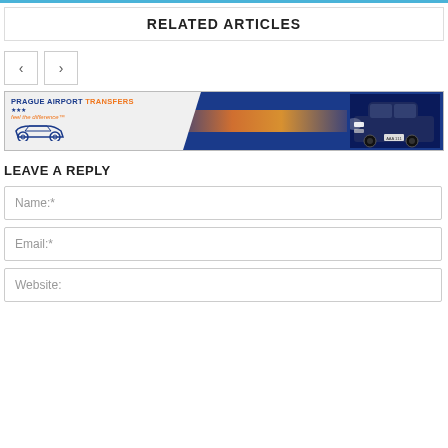RELATED ARTICLES
[Figure (other): Navigation previous/next arrow buttons]
[Figure (photo): Prague Airport Transfers advertisement banner showing a dark Audi car and orange speed streak on blue background]
LEAVE A REPLY
Name:*
Email:*
Website: